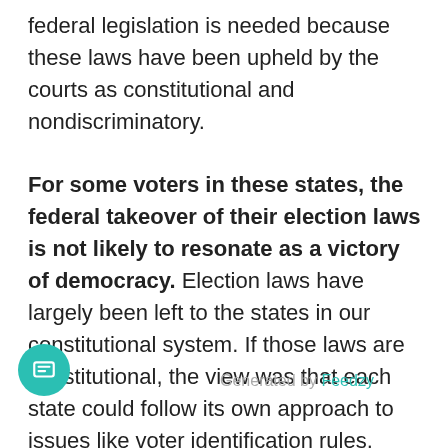federal legislation is needed because these laws have been upheld by the courts as constitutional and nondiscriminatory.

For some voters in these states, the federal takeover of their election laws is not likely to resonate as a victory of democracy. Election laws have largely been left to the states in our constitutional system. If those laws are constitutional, the view was that each state could follow its own approach to issues like voter identification rules. While the Congress can condition the receipt of federal funds on improving election administration (and reinforce constitutional protections for minority voters through laws like the Voting Rights Act), this is an unprecedented